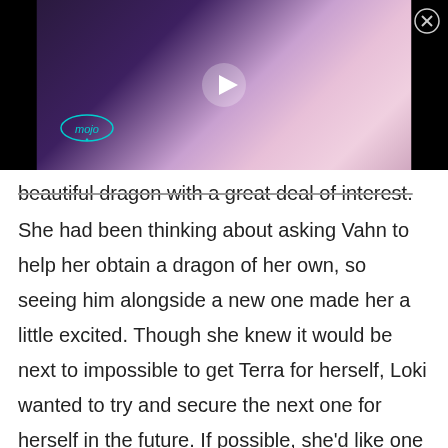[Figure (screenshot): Video thumbnail showing a person with purple hair and red roses, with a play button overlay and mojo logo watermark. Black bars on sides.]
beautiful dragon with a great deal of interest. She had been thinking about asking Vahn to help her obtain a dragon of her own, so seeing him alongside a new one made her a little excited. Though she knew it would be next to impossible to get Terra for herself, Loki wanted to try and secure the next one for herself in the future. If possible, she'd like one that looks more like Fafnir though, as it had a more 'tyrannical' appearance instead of a 'gentle' and slender